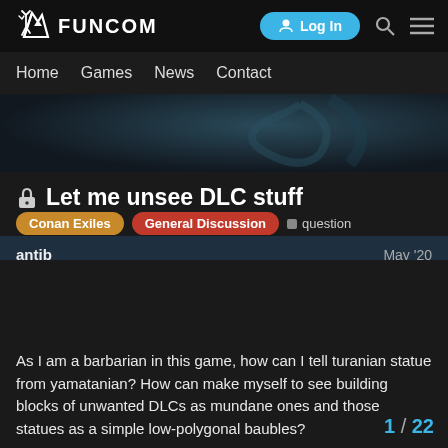FUNCOM — Log In [navigation: Home, Games, News, Contact]
[Figure (screenshot): Funcom logo with stylized deer/animal icon and navigation bar with Log In button, search icon, and menu icon]
🔒 Let me unsee DLC stuff
Conan Exiles  General Discussion  question
antib  May '20
As I am a barbarian in this game, how can I tell turanian statue from yamatanian? How can make myself to see building blocks of unwanted DLCs as mundane ones and those statues as a simple low-polygonal baubles?
1 / 22